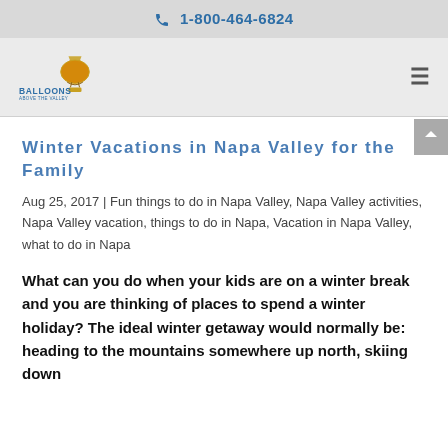📞 1-800-464-6824
[Figure (logo): Balloons Above the Valley logo with hot air balloon icon and text 'BALLOONS ABOVE THE VALLEY']
Winter Vacations in Napa Valley for the Family
Aug 25, 2017 | Fun things to do in Napa Valley, Napa Valley activities, Napa Valley vacation, things to do in Napa, Vacation in Napa Valley, what to do in Napa
What can you do when your kids are on a winter break and you are thinking of places to spend a winter holiday? The ideal winter getaway would normally be: heading to the mountains somewhere up north, skiing down